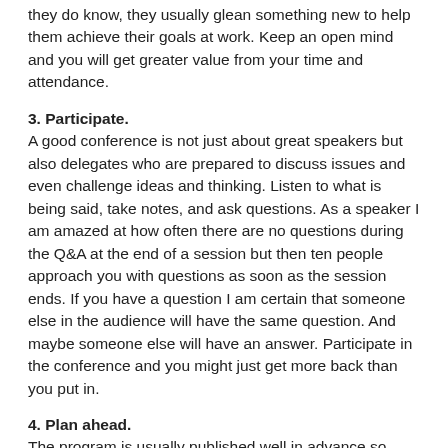they do know, they usually glean something new to help them achieve their goals at work. Keep an open mind and you will get greater value from your time and attendance.
3. Participate.
A good conference is not just about great speakers but also delegates who are prepared to discuss issues and even challenge ideas and thinking. Listen to what is being said, take notes, and ask questions. As a speaker I am amazed at how often there are no questions during the Q&A at the end of a session but then ten people approach you with questions as soon as the session ends. If you have a question I am certain that someone else in the audience will have the same question. And maybe someone else will have an answer. Participate in the conference and you might just get more back than you put in.
4. Plan ahead.
The program is usually published well in advance so take the time to research it. When you register at the conference locate the presentation rooms and become familiar with the layout of the hotel or conference center. It is not easy to juggle concurrent sessions at the last minute so be sure about who you want to hear and where you need to be.